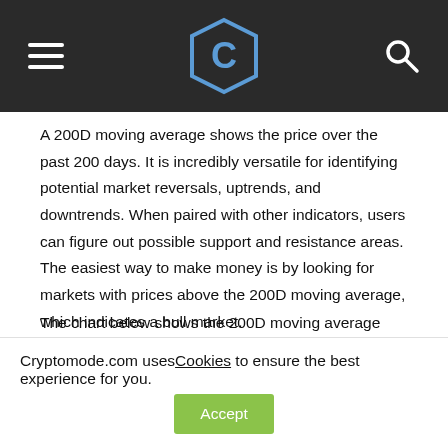Cryptomode logo header with hamburger menu and search icon
A 200D moving average shows the price over the past 200 days. It is incredibly versatile for identifying potential market reversals, uptrends, and downtrends. When paired with other indicators, users can figure out possible support and resistance areas. The easiest way to make money is by looking for markets with prices above the 200D moving average, which indicates a bull market.
The chart below shows the 200D moving average (yellow) and the 50D moving average (purple). Despite a current negative price trend, it confirms the 200D MA is still going up, ensuring bitcoin remains in an uptrend. However, the 50D MA
Cryptomode.com uses Cookies to ensure the best experience for you.